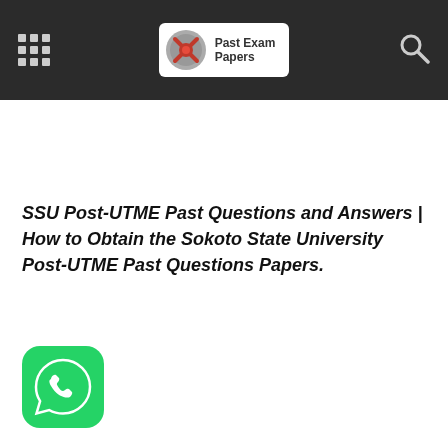Past Exam Papers
SSU Post-UTME Past Questions and Answers | How to Obtain the Sokoto State University Post-UTME Past Questions Papers.
[Figure (logo): WhatsApp icon – green rounded square with white phone handset in speech bubble]